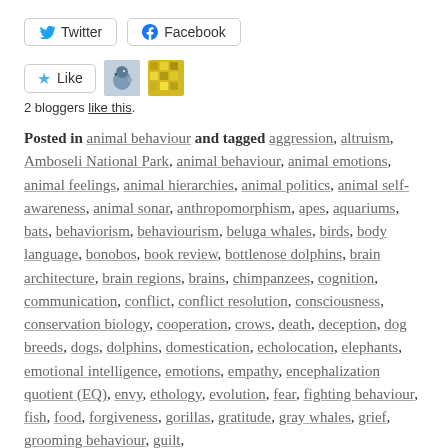[Figure (screenshot): Twitter and Facebook share buttons]
[Figure (screenshot): Like button with star icon and two blogger avatar thumbnails]
2 bloggers like this.
Posted in animal behaviour and tagged aggression, altruism, Amboseli National Park, animal behaviour, animal emotions, animal feelings, animal hierarchies, animal politics, animal self-awareness, animal sonar, anthropomorphism, apes, aquariums, bats, behaviorism, behaviourism, beluga whales, birds, body language, bonobos, book review, bottlenose dolphins, brain architecture, brain regions, brains, chimpanzees, cognition, communication, conflict, conflict resolution, consciousness, conservation biology, cooperation, crows, death, deception, dog breeds, dogs, dolphins, domestication, echolocation, elephants, emotional intelligence, emotions, empathy, encephalization quotient (EQ), envy, ethology, evolution, fear, fighting behaviour, fish, food, forgiveness, gorillas, gratitude, gray whales, grief, grooming behaviour, guilt,